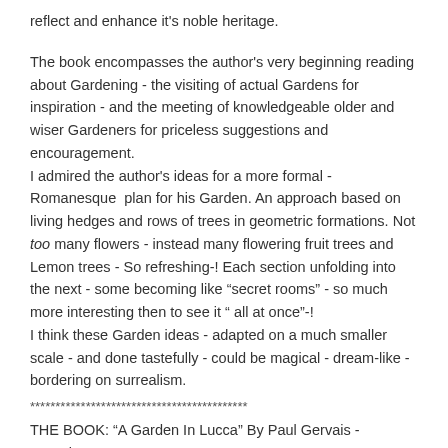reflect and enhance it's noble heritage.
The book encompasses the author's very beginning reading about Gardening - the visiting of actual Gardens for inspiration - and the meeting of knowledgeable older and wiser Gardeners for priceless suggestions and encouragement.
I admired the author's ideas for a more formal - Romanesque  plan for his Garden. An approach based on living hedges and rows of trees in geometric formations. Not too many flowers - instead many flowering fruit trees and Lemon trees - So refreshing-! Each section unfolding into the next - some becoming like "secret rooms" - so much more interesting then to see it " all at once"-!
I think these Garden ideas - adapted on a much smaller scale - and done tastefully - could be magical - dream-like - bordering on surrealism.
*******************************************
THE BOOK: "A Garden In Lucca" By Paul Gervais -Hyperion, N.Y.-2000
His philosophy quoted from the book: "The Garden - the highest